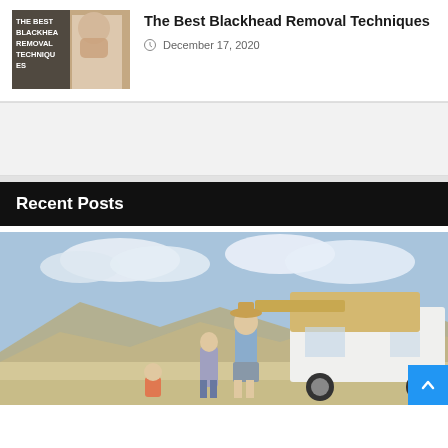[Figure (photo): Thumbnail image of woman covering mouth with text overlay 'THE BEST BLACKHEAD REMOVAL TECHNIQUES']
The Best Blackhead Removal Techniques
December 17, 2020
[Figure (other): Advertisement banner placeholder (grey background)]
Recent Posts
[Figure (photo): Family with RV camper in desert landscape, children and adult standing outside motorhome]